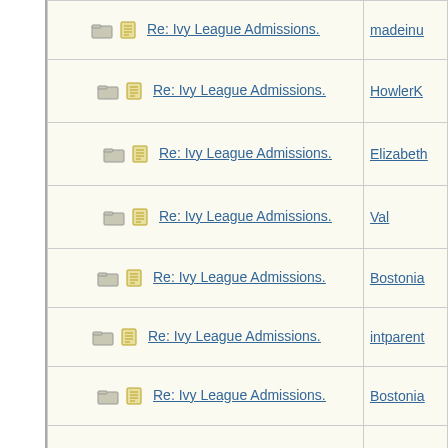| Topic | Author |
| --- | --- |
| Re: Ivy League Admissions. | madeinu |
| Re: Ivy League Admissions. | HowlerK |
| Re: Ivy League Admissions. | Elizabeth |
| Re: Ivy League Admissions. | Val |
| Re: Ivy League Admissions. | Bostonia |
| Re: Ivy League Admissions. | intparent |
| Re: Ivy League Admissions. | Bostonia |
| Re: Ivy League Admissions. | 22B |
| Re: Ivy League Admissions. | madeinu |